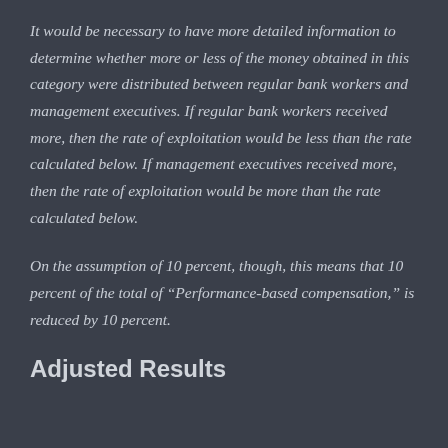It would be necessary to have more detailed information to determine whether more or less of the money obtained in this category were distributed between regular bank workers and management executives. If regular bank workers received more, then the rate of exploitation would be less than the rate calculated below. If management executives received more, then the rate of exploitation would be more than the rate calculated below.
On the assumption of 10 percent, though, this means that 10 percent of the total of “Performance-based compensation,” is reduced by 10 percent.
Adjusted Results